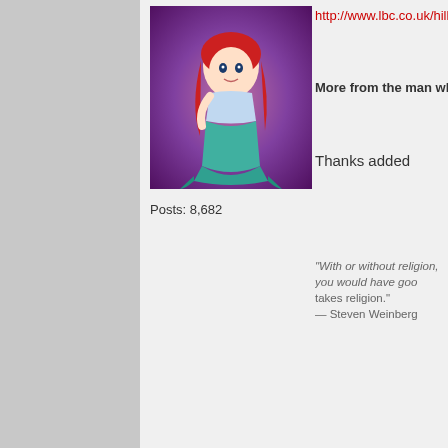[Figure (illustration): Avatar image showing an animated mermaid character with red hair against a purple/pink background]
Posts: 8,682
http://www.lbc.co.uk/hillsborough-surv
More from the man who seems to hav
Thanks added
"With or without religion, you would have good people doing good things and evil people doing evil things. But for good people to do evil things, that takes religion."
— Steven Weinberg
Speedy Molby
Not as fat as his name suggests but is still a bad formby wool :)
RAWK Scribe
Kopite
Posts: 718
Satire? In Wigan?
Re: Hillsborough Inquests Video Archive
« Reply #22 on: April 29, 2016, 12:37:3
Channel 4 News from v-day.
http://www.channel4.com/news/catch
I am alone now. I am beyond recrimination. T flying. Look at me now.